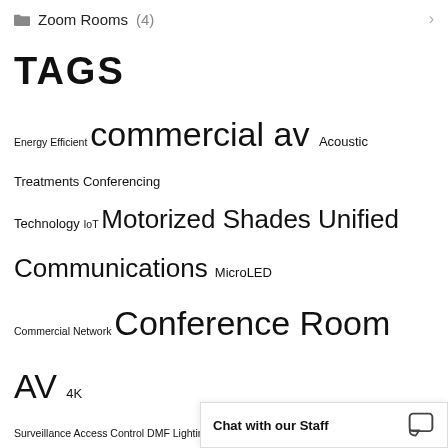Zoom Rooms (4)
TAGS
Energy Efficient commercial av Acoustic Treatments Conferencing Technology IoT Motorized Shades Unified Communications MicroLED Commercial Network Conference Room AV 4K Surveillance Access Control DMF Lighting Wireless Access Points Sound Masking maintenance residential av UCaaS Wi-Fi Conference Room Automation Soundproofing Tunable LED Lighting Networking Outdoor Audio LED Recording Studio Whole-Home Audio Home Networks Motorized Window Treatments Motorized Shading Video Analytics Home Security Outdoor Entertainment Voice Control audio Sony Audio Video Distribution Home Lighting Lighting JBL video-tele conferencing
Chat with our Staff